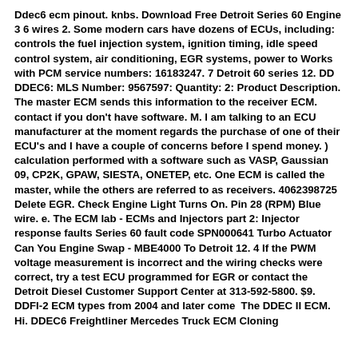Ddec6 ecm pinout. knbs. Download Free Detroit Series 60 Engine 3 6 wires 2. Some modern cars have dozens of ECUs, including: controls the fuel injection system, ignition timing, idle speed control system, air conditioning, EGR systems, power to Works with PCM service numbers: 16183247. 7 Detroit 60 series 12. DD DDEC6: MLS Number: 9567597: Quantity: 2: Product Description. The master ECM sends this information to the receiver ECM. contact if you don't have software. M. I am talking to an ECU manufacturer at the moment regards the purchase of one of their ECU's and I have a couple of concerns before I spend money. ) calculation performed with a software such as VASP, Gaussian 09, CP2K, GPAW, SIESTA, ONETEP, etc. One ECM is called the master, while the others are referred to as receivers. 4062398725 Delete EGR. Check Engine Light Turns On. Pin 28 (RPM) Blue wire. e. The ECM lab - ECMs and Injectors part 2: Injector response faults Series 60 fault code SPN000641 Turbo Actuator Can You Engine Swap - MBE4000 To Detroit 12. 4 If the PWM voltage measurement is incorrect and the wiring checks were correct, try a test ECU programmed for EGR or contact the Detroit Diesel Customer Support Center at 313-592-5800. $9. DDFI-2 ECM types from 2004 and later come  The DDEC II ECM.  Hi. DDEC6 Freightliner Mercedes Truck ECM Cloning